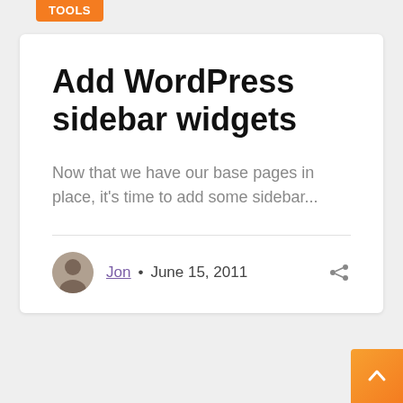TOOLS
Add WordPress sidebar widgets
Now that we have our base pages in place, it's time to add some sidebar...
Jon • June 15, 2011